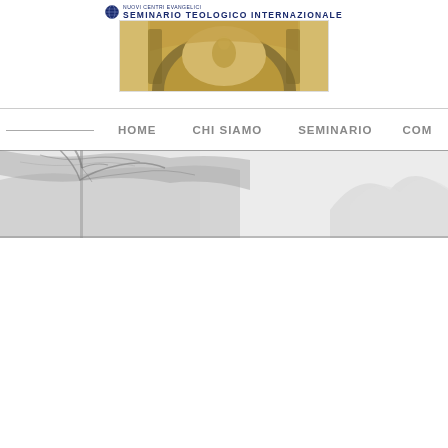[Figure (logo): Seminario Teologico Internazionale logo with globe icon and institution name text]
[Figure (photo): Banner image showing a golden dome/ceiling fresco with religious artwork]
HOME    CHI SIAMO    SEMINARIO    COM...
[Figure (photo): Wide hero banner showing a grayscale photo of a bare tree on the left and snowy mountains on the right]